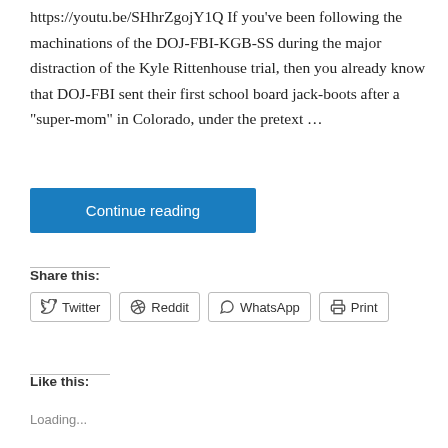https://youtu.be/SHhrZgojY1Q If you've been following the machinations of the DOJ-FBI-KGB-SS during the major distraction of the Kyle Rittenhouse trial, then you already know that DOJ-FBI sent their first school board jack-boots after a "super-mom" in Colorado, under the pretext …
Continue reading
Share this:
Twitter
Reddit
WhatsApp
Print
Like this:
Loading...